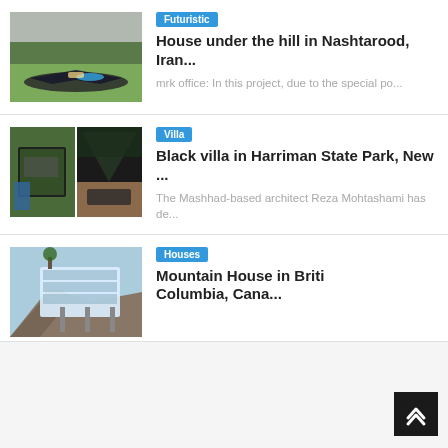[Figure (photo): Aerial view of futuristic house under a hill with pool in Nashtarood, Iran]
Futuristic
House under the hill in Nashtarood, Iran...
mrk office: In this project, due to the special po...
[Figure (photo): Two photos of black villa in Harriman State Park showing aerial and interior views]
Villa
Black villa in Harriman State Park, New ...
The Mashhad-based architect Reza Mohtashami has de...
[Figure (photo): Mountain house in British Columbia perched on rocky cliff]
Houses
Mountain House in British Columbia, Cana...